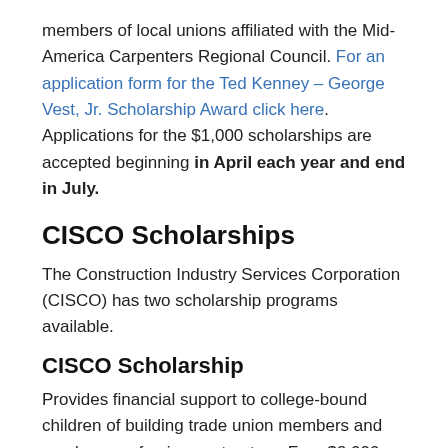members of local unions affiliated with the Mid-America Carpenters Regional Council. For an application form for the Ted Kenney – George Vest, Jr. Scholarship Award click here. Applications for the $1,000 scholarships are accepted beginning in April each year and end in July.
CISCO Scholarships
The Construction Industry Services Corporation (CISCO) has two scholarship programs available.
CISCO Scholarship
Provides financial support to college-bound children of building trade union members and employees of union contractors. Four $2,000 scholarships will be awarded each year to children of a member of a trade union affiliated with CISCO or to